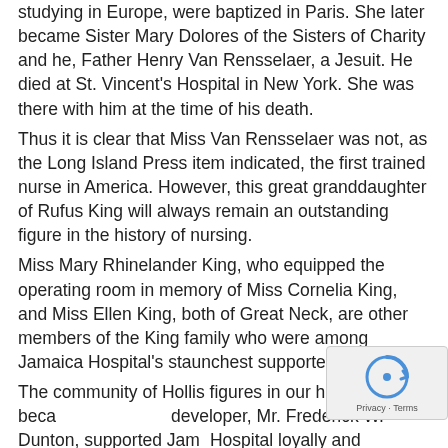studying in Europe, were baptized in Paris. She later became Sister Mary Dolores of the Sisters of Charity and he, Father Henry Van Rensselaer, a Jesuit. He died at St. Vincent's Hospital in New York. She was there with him at the time of his death.
Thus it is clear that Miss Van Rensselaer was not, as the Long Island Press item indicated, the first trained nurse in America. However, this great granddaughter of Rufus King will always remain an outstanding figure in the history of nursing.
Miss Mary Rhinelander King, who equipped the operating room in memory of Miss Cornelia King, and Miss Ellen King, both of Great Neck, are other members of the King family who were among Jamaica Hospital's staunchest supporters.
The community of Hollis figures in our history because its developer, Mr. Frederick W. Dunton, supported Jamaica Hospital loyally and powerfully over a long period of years.